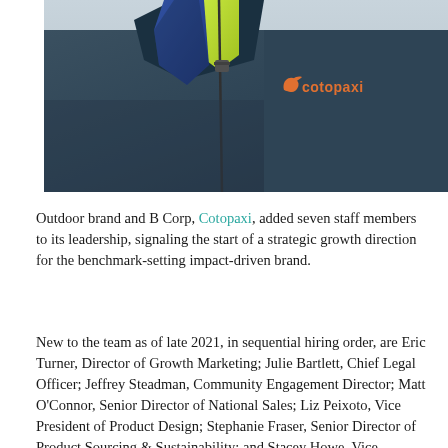[Figure (photo): Close-up photo of a person wearing a dark teal/navy Cotopaxi branded jacket with an orange Cotopaxi logo on the chest and a neon yellow/green inner layer visible at the collar. The jacket has a zipper pull visible.]
Outdoor brand and B Corp, Cotopaxi, added seven staff members to its leadership, signaling the start of a strategic growth direction for the benchmark-setting impact-driven brand.
New to the team as of late 2021, in sequential hiring order, are Eric Turner, Director of Growth Marketing; Julie Bartlett, Chief Legal Officer; Jeffrey Steadman, Community Engagement Director; Matt O'Connor, Senior Director of National Sales; Liz Peixoto, Vice President of Product Design; Stephanie Fraser, Senior Director of Product Sourcing & Sustainability; and Stacey Howe, Vice President